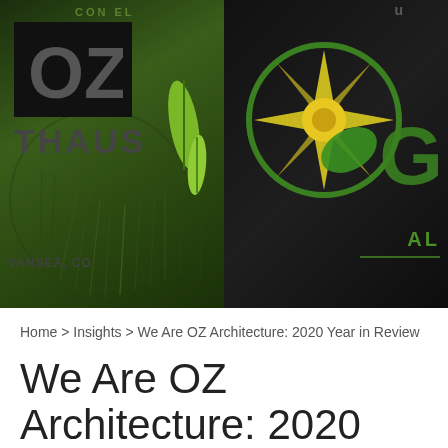[Figure (photo): Banner image split into two panels. Left panel shows a dark green background with plant/herb imagery, an OZ logo in a black square, text 'HAUS' below, cursive text 'CON EL' at top, 'SWANSEA, CO' at bottom, and green feather illustrations. Right panel shows a dark background with a green compass/sun logo with electric plug element, partial large letter 'G' in green, and partial text 'AL' below.]
Home > Insights > We Are OZ Architecture: 2020 Year in Review
We Are OZ Architecture: 2020 Year in Review